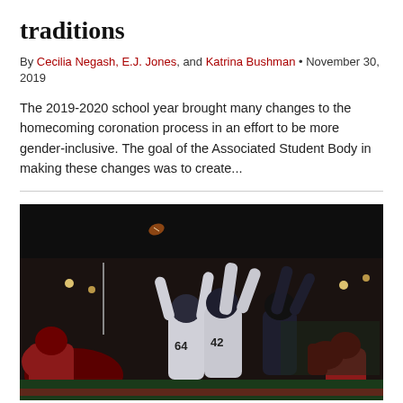traditions
By Cecilia Negash, E.J. Jones, and Katrina Bushman • November 30, 2019
The 2019-2020 school year brought many changes to the homecoming coronation process in an effort to be more gender-inclusive. The goal of the Associated Student Body in making these changes was to create...
[Figure (photo): Night football game action shot showing players jumping with arms raised attempting to block a kick, players wearing red and white/navy jerseys, number 64 and 42 visible, stadium lights in background]